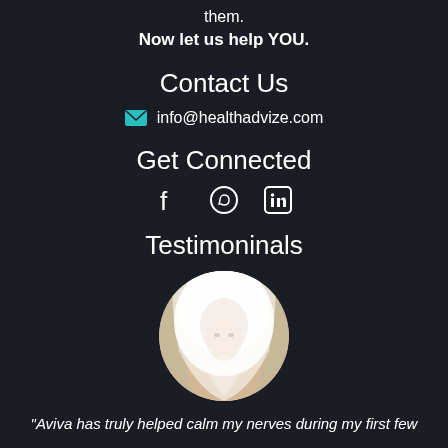them.
Now let us help YOU.
Contact Us
info@healthadvize.com
Get Connected
[Figure (other): Social media icons: Facebook, WhatsApp, LinkedIn]
Testimoninals
[Figure (photo): Circular portrait photo of a woman wearing a white bridal veil]
“Aviva has truly helped calm my nerves during my first few